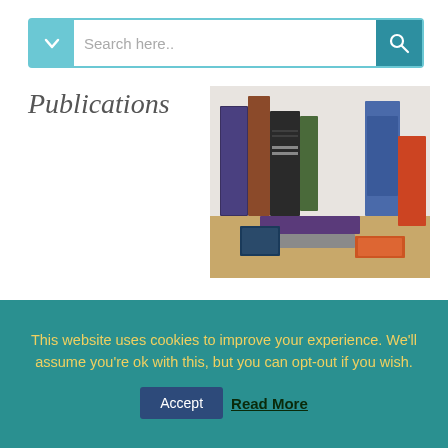[Figure (screenshot): Search bar with teal dropdown arrow on left and teal search icon button on right, placeholder text 'Search here..']
Publications
[Figure (photo): A collection of various books stacked and standing on a wooden surface]
[Figure (screenshot): Select Category dropdown control]
This website uses cookies to improve your experience. We'll assume you're ok with this, but you can opt-out if you wish.
Accept   Read More